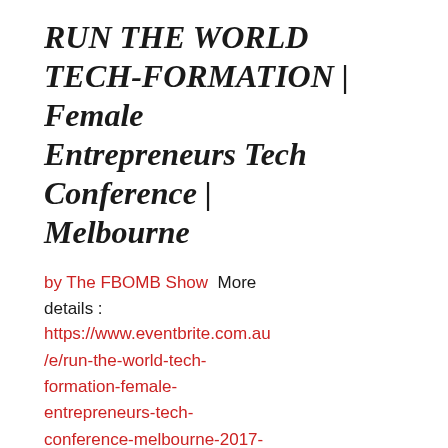RUN THE WORLD TECH-FORMATION | Female Entrepreneurs Tech Conference | Melbourne
by The FBOMB Show  More details : https://www.eventbrite.com.au/e/run-the-world-tech-formation-female-entrepreneurs-tech-conference-melbourne-2017-tickets-30215239595?aff=es2